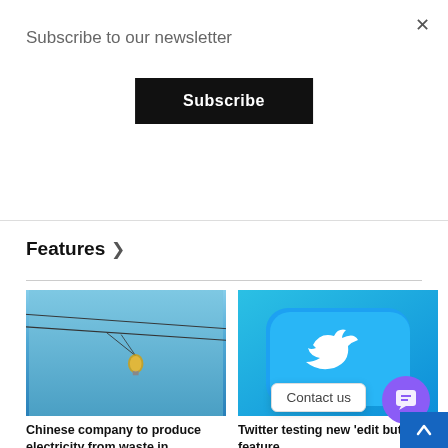Subscribe to our newsletter
Subscribe
Features >
[Figure (photo): Light bulb hanging from wires against a blue sky]
Chinese company to produce electricity from waste in...
[Figure (photo): 3D Twitter bird logo icon on light blue background]
Twitter testing new 'edit button' feature
[Figure (photo): Landscape photo with water and greenery]
[Figure (photo): Person wearing a hat - partially visible]
Contact us